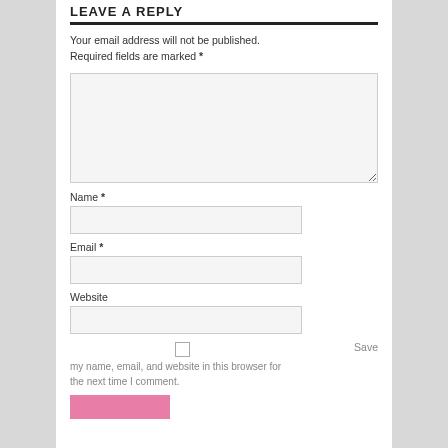LEAVE A REPLY
Your email address will not be published. Required fields are marked *
Name *
Email *
Website
Save my name, email, and website in this browser for the next time I comment.